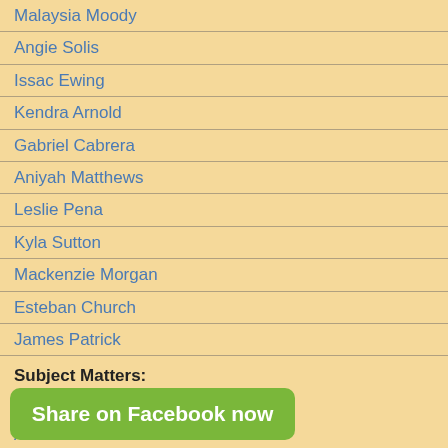Malaysia Moody
Angie Solis
Issac Ewing
Kendra Arnold
Gabriel Cabrera
Aniyah Matthews
Leslie Pena
Kyla Sutton
Mackenzie Morgan
Esteban Church
James Patrick
Subject Matters:
From Google Books
Action Games
Adventure Games
Best Games
Share on Facebook now